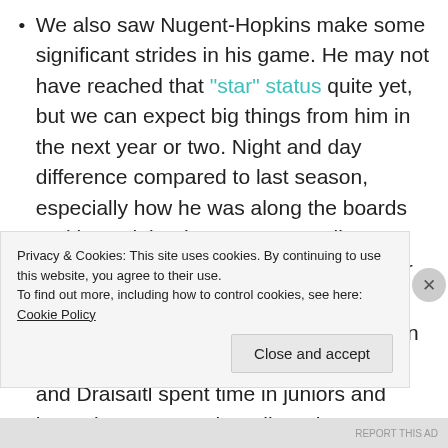We also saw Nugent-Hopkins make some significant strides in his game. He may not have reached that "star" status quite yet, but we can expect big things from him in the next year or two. Night and day difference compared to last season, especially how he was along the boards and in puck battles. We're actually entering next season with a legit number one center.
A couple of our key prospects were given the opportunity to develop. Both Nurse and Draisaitl spent time in juniors and have done extremely well. Both are playing pivotal roles in their
Privacy & Cookies: This site uses cookies. By continuing to use this website, you agree to their use.
To find out more, including how to control cookies, see here: Cookie Policy
Close and accept